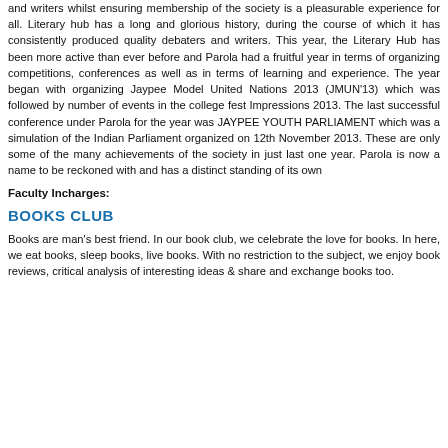and writers whilst ensuring membership of the society is a pleasurable experience for all. Literary hub has a long and glorious history, during the course of which it has consistently produced quality debaters and writers. This year, the Literary Hub has been more active than ever before and Parola had a fruitful year in terms of organizing competitions, conferences as well as in terms of learning and experience. The year began with organizing Jaypee Model United Nations 2013 (JMUN'13) which was followed by number of events in the college fest Impressions 2013. The last successful conference under Parola for the year was JAYPEE YOUTH PARLIAMENT which was a simulation of the Indian Parliament organized on 12th November 2013. These are only some of the many achievements of the society in just last one year. Parola is now a name to be reckoned with and has a distinct standing of its own
Faculty Incharges:
BOOKS CLUB
Books are man's best friend. In our book club, we celebrate the love for books. In here, we eat books, sleep books, live books. With no restriction to the subject, we enjoy book reviews, critical analysis of interesting ideas & share and exchange books too.